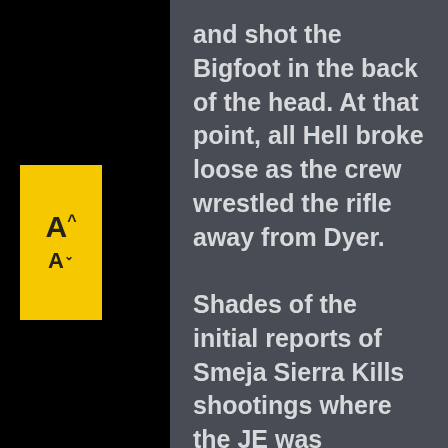[Figure (other): Yellow font-size adjustment button with A-up and A-down icons on black background]
and shot the Bigfoot in the back of the head. At that point, all Hell broke loose as the crew wrestled the rifle away from Dyer. Shades of the initial reports of Smeja Sierra Kills shootings where the JE was